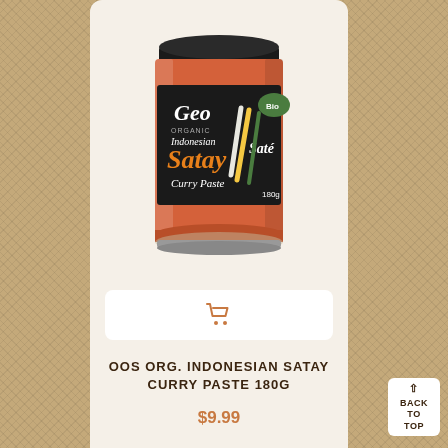[Figure (photo): Geo Organics Indonesian Satay Curry Paste 180g jar with black label showing orange 'Satay' text and colorful spice illustrations, Bio certified]
[Figure (other): Shopping cart icon button (orange outline cart icon on white rounded rectangle button)]
OOS ORG. INDONESIAN SATAY CURRY PASTE 180G
$9.99
BACK TO TOP